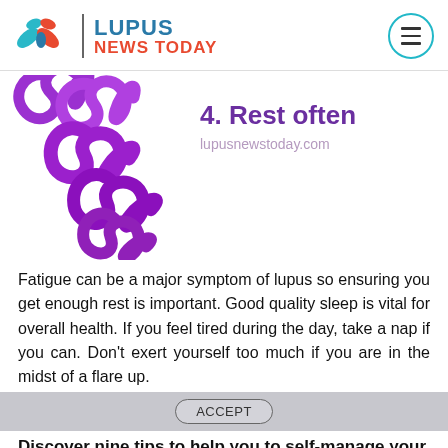[Figure (logo): Lupus News Today logo with butterfly/leaf icon in teal and red, site name in blue and red, and hamburger menu button in teal circle]
[Figure (illustration): Multiple purple lupus awareness ribbons arranged diagonally]
4. Rest often
lupusnewstoday.com
Fatigue can be a major symptom of lupus so ensuring you get enough rest is important. Good quality sleep is vital for overall health. If you feel tired during the day, take a nap if you can. Don't exert yourself too much if you are in the midst of a flare up.
Discover nine tips to help you to self-manage your